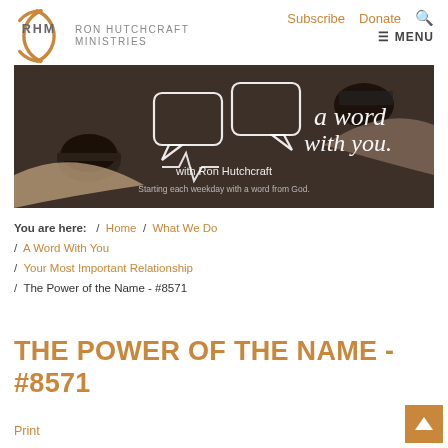Subscribe  Donate  [search icon]
[Figure (logo): Ron Hutchcraft Ministries logo: orange circular bracket arcs with RHM letters and 'RON HUTCHCRAFT MINISTRIES' text]
≡ MENU
[Figure (photo): Banner image for 'a word with you' with Ron Hutchcraft. Overhead shot of two people holding coffee cups on a dark table. White speech bubble icons and text: 'a word with you.' 'with Ron Hutchcraft' 'Starting each weekday with a word from God.']
You are here:  /  Home  /  What We Do  /  A Word With You  /  Your Most Important Relationship  /  The Power of the Name - #8571
THE POWER OF THE NAME - #8571
Print